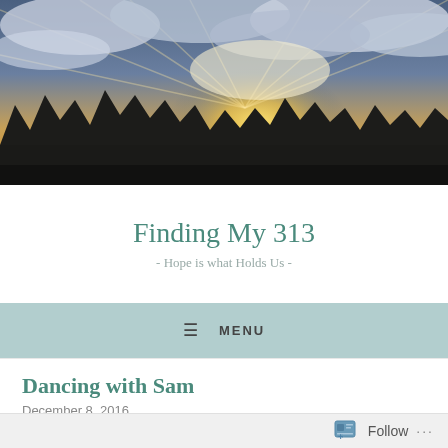[Figure (photo): Sunset landscape photo showing a dramatic sky with sun rays breaking through blue and grey clouds, silhouetted pine trees along the horizon, warm golden glow on the horizon.]
Finding My 313
- Hope is what Holds Us -
MENU
Dancing with Sam
December 8, 2016
Follow ...